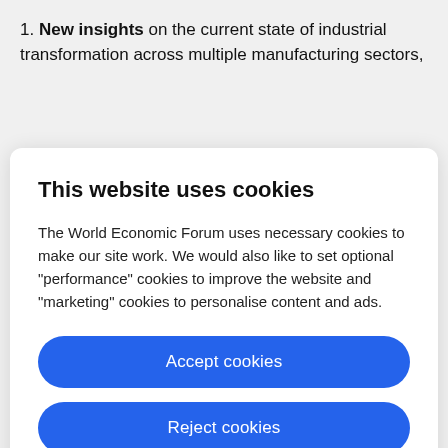1. New insights on the current state of industrial transformation across multiple manufacturing sectors,
This website uses cookies

The World Economic Forum uses necessary cookies to make our site work. We would also like to set optional "performance" cookies to improve the website and "marketing" cookies to personalise content and ads.

[Accept cookies] [Reject cookies] [Cookie settings]